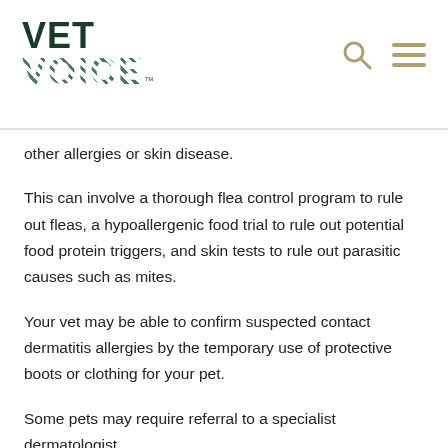VET VOICE™
other allergies or skin disease.
This can involve a thorough flea control program to rule out fleas, a hypoallergenic food trial to rule out potential food protein triggers, and skin tests to rule out parasitic causes such as mites.
Your vet may be able to confirm suspected contact dermatitis allergies by the temporary use of protective boots or clothing for your pet.
Some pets may require referral to a specialist dermatologist